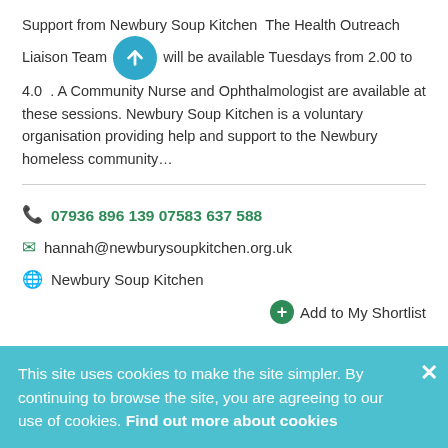Support from Newbury Soup Kitchen The Health Outreach Liaison Team will be available Tuesdays from 2.00 to 4.00. A Community Nurse and Ophthalmologist are available at these sessions. Newbury Soup Kitchen is a voluntary organisation providing help and support to the Newbury homeless community…
07936 896 139 07583 637 588
hannah@newburysoupkitchen.org.uk
Newbury Soup Kitchen
Add to My Shortlist
Access to Work Grant for practical
This site uses cookies to make the site simpler. By continuing to browse the site, you are agreeing to our use of cookies. Find out more about cookies